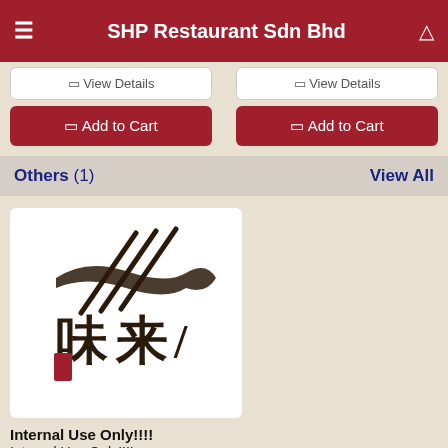SHP Restaurant Sdn Bhd
View Details
View Details
Add to Cart
Add to Cart
Others (1)   View All
[Figure (logo): Restaurant logo with Chinese characters and chopsticks illustration in brown/black and red on white background]
Internal Use Only!!!!
Internal Use Only!!!!
RM 169.00
View Details